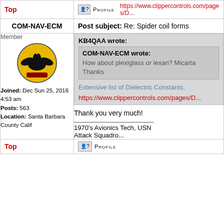https://www.clippercontrols.com/pages/D...
Top
PROFILE
COM-NAV-ECM
Post subject: Re: Spider coil forms
Member
Joined: Dec Sun 25, 2016 4:53 am
Posts: 563
Location: Santa Barbara County Calif
KB4QAA wrote:
COM-NAV-ECM wrote:
How about plexiglass or lexan? Micarta
Thanks
Extensive list of Dielectric Constants.
https://www.clippercontrols.com/pages/D...
Thank you very much!
1970's Avionics Tech, USN Attack Squadro...
Top
PROFILE